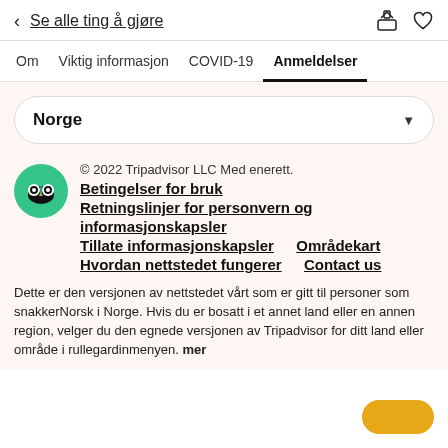< Se alle ting å gjøre
Om  Viktig informasjon  COVID-19  Anmeldelser
Norge
© 2022 Tripadvisor LLC Med enerett. Betingelser for bruk Retningslinjer for personvern og informasjonskapsler Tillate informasjonskapsler  Områdekart Hvordan nettstedet fungerer  Contact us
Dette er den versjonen av nettstedet vårt som er gitt til personer som snakkerNorsk i Norge. Hvis du er bosatt i et annet land eller en annen region, velger du den egnede versjonen av Tripadvisor for ditt land eller område i rullegardinmenyen. mer